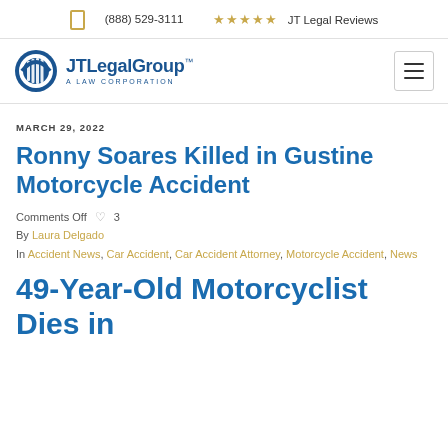(888) 529-3111  ★★★★★ JT Legal Reviews
[Figure (logo): JT Legal Group - A Law Corporation logo with circular globe/columns icon]
MARCH 29, 2022
Ronny Soares Killed in Gustine Motorcycle Accident
Comments Off  ♡ 3
By Laura Delgado
In Accident News, Car Accident, Car Accident Attorney, Motorcycle Accident, News
49-Year-Old Motorcyclist Dies in